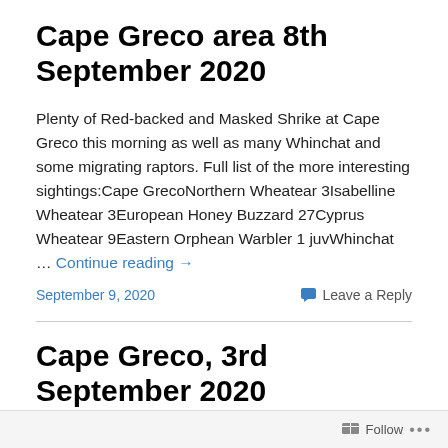Cape Greco area 8th September 2020
Plenty of Red-backed and Masked Shrike at Cape Greco this morning as well as many Whinchat and some migrating raptors. Full list of the more interesting sightings:Cape GrecoNorthern Wheatear 3Isabelline Wheatear 3European Honey Buzzard 27Cyprus Wheatear 9Eastern Orphean Warbler 1 juvWhinchat … Continue reading →
September 9, 2020
Leave a Reply
Cape Greco, 3rd September 2020